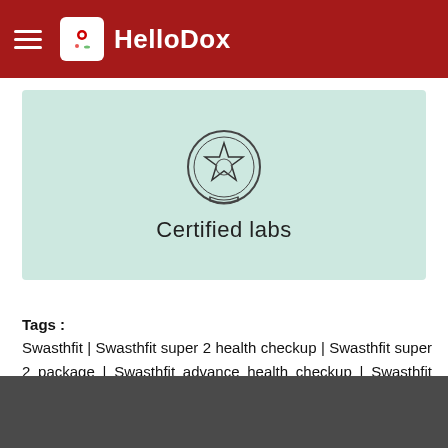HelloDox
[Figure (illustration): Certified labs badge with star emblem and circular seal, shown on a mint green card background with text 'Certified labs']
Tags : Swasthfit | Swasthfit super 2 health checkup | Swasthfit super 2 package | Swasthfit advance health checkup | Swasthfit super 1 health checkup | Swasthfit basic package | Swasthfit super 1 package | Swasthfit package Swasthfit basic health checkup | dr lal pathlabs swasthfit | Swasthfit advance package | Swasthfit vitamin package